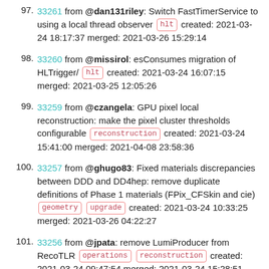97. 33261 from @dan131riley: Switch FastTimerService to using a local thread observer hlt created: 2021-03-24 18:17:37 merged: 2021-03-26 15:29:14
98. 33260 from @missirol: esConsumes migration of HLTrigger/ hlt created: 2021-03-24 16:07:15 merged: 2021-03-25 12:05:26
99. 33259 from @czangela: GPU pixel local reconstruction: make the pixel cluster thresholds configurable reconstruction created: 2021-03-24 15:41:00 merged: 2021-04-08 23:58:36
100. 33257 from @ghugo83: Fixed materials discrepancies between DDD and DD4hep: remove duplicate definitions of Phase 1 materials (FPix_CFSkin and cie) geometry upgrade created: 2021-03-24 10:33:25 merged: 2021-03-26 04:22:27
101. 33256 from @jpata: remove LumiProducer from RecoTLR operations reconstruction created: 2021-03-24 09:47:54 merged: 2021-03-24 15:28:51